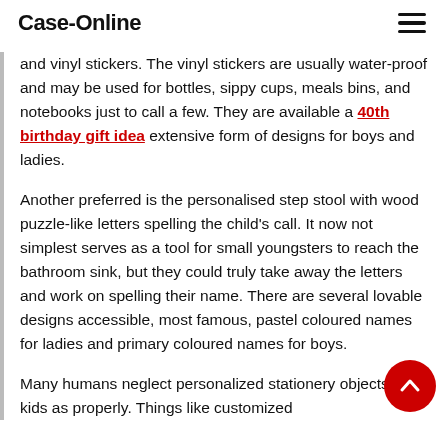Case-Online
and vinyl stickers. The vinyl stickers are usually water-proof and may be used for bottles, sippy cups, meals bins, and notebooks just to call a few. They are available a 40th birthday gift idea extensive form of designs for boys and ladies.
Another preferred is the personalised step stool with wood puzzle-like letters spelling the child’s call. It now not simplest serves as a tool for small youngsters to reach the bathroom sink, but they could truly take away the letters and work on spelling their name. There are several lovable designs accessible, most famous, pastel coloured names for ladies and primary coloured names for boys.
Many humans neglect personalized stationery objects for kids as properly. Things like customized